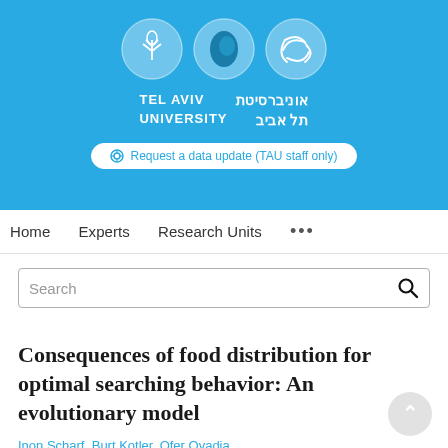[Figure (logo): Tel Aviv University logo banner with three circular icons and bilingual university name in Hebrew and English on blue background]
Request a data update (TAU staff only)
Home   Experts   Research Units   ...
Search
Consequences of food distribution for optimal searching behavior: An evolutionary model
Inon Scharf, Burt Kotler, Ofer Ovadia